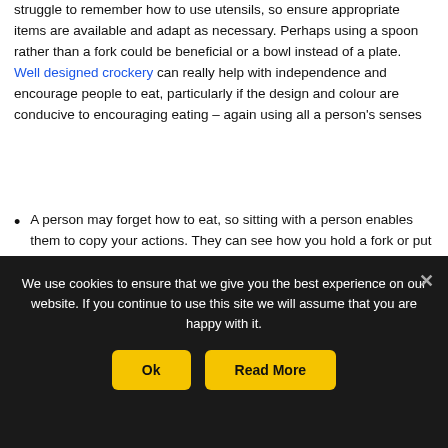struggle to remember how to use utensils, so ensure appropriate items are available and adapt as necessary. Perhaps using a spoon rather than a fork could be beneficial or a bowl instead of a plate.  Well designed crockery can really help with independence and encourage people to eat, particularly if the design and colour are conducive to encouraging eating – again using all a person's senses
A person may forget how to eat, so sitting with a person enables them to copy your actions. They can see how you hold a fork or put food in your mouth and mimic your actions
Hydration
Hydration is arguably as important as food and...
We use cookies to ensure that we give you the best experience on our website. If you continue to use this site we will assume that you are happy with it.